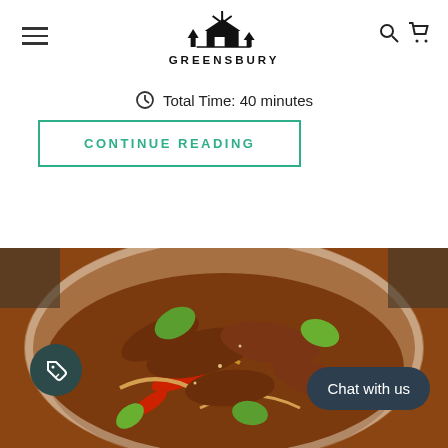GREENSBURY
Total Time: 40 minutes
CONTINUE READING
[Figure (photo): A bowl of beef stir fry with noodles, red bell peppers, onions, and basil leaves]
Chat with us